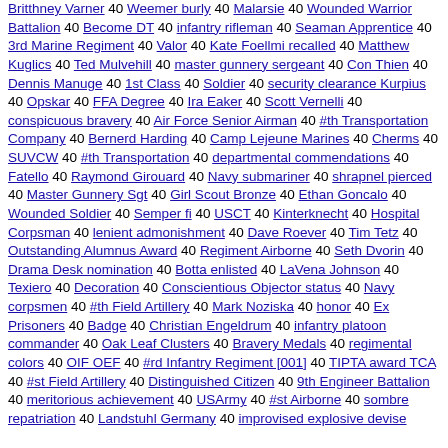Britthney Varner 40 Weemer burly 40 Malarsie 40 Wounded Warrior Battalion 40 Become DT 40 infantry rifleman 40 Seaman Apprentice 40 3rd Marine Regiment 40 Valor 40 Kate Foellmi recalled 40 Matthew Kuglics 40 Ted Mulvehill 40 master gunnery sergeant 40 Con Thien 40 Dennis Manuge 40 1st Class 40 Soldier 40 security clearance Kurpius 40 Opskar 40 FFA Degree 40 Ira Eaker 40 Scott Vernelli 40 conspicuous bravery 40 Air Force Senior Airman 40 #th Transportation Company 40 Bernerd Harding 40 Camp Lejeune Marines 40 Cherms 40 SUVCW 40 #th Transportation 40 departmental commendations 40 Fatello 40 Raymond Girouard 40 Navy submariner 40 shrapnel pierced 40 Master Gunnery Sgt 40 Girl Scout Bronze 40 Ethan Goncalo 40 Wounded Soldier 40 Semper fi 40 USCT 40 Kinterknecht 40 Hospital Corpsman 40 lenient admonishment 40 Dave Roever 40 Tim Tetz 40 Outstanding Alumnus Award 40 Regiment Airborne 40 Seth Dvorin 40 Drama Desk nomination 40 Botta enlisted 40 LaVena Johnson 40 Texiero 40 Decoration 40 Conscientious Objector status 40 Navy corpsmen 40 #th Field Artillery 40 Mark Noziska 40 honor 40 Ex Prisoners 40 Badge 40 Christian Engeldrum 40 infantry platoon commander 40 Oak Leaf Clusters 40 Bravery Medals 40 regimental colors 40 OIF OEF 40 #rd Infantry Regiment [001] 40 TIPTA award TCA 40 #st Field Artillery 40 Distinguished Citizen 40 9th Engineer Battalion 40 meritorious achievement 40 USArmy 40 #st Airborne 40 sombre repatriation 40 Landstuhl Germany 40 improvised explosive devise